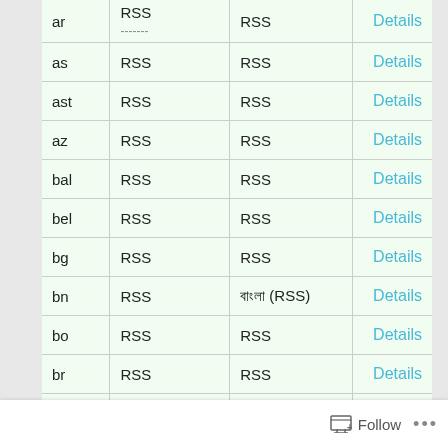| Code | RSS (col2) | RSS (col3) | Action |
| --- | --- | --- | --- |
| ar | RSS
------- | RSS | Details |
| as | RSS | RSS | Details |
| ast | RSS | RSS | Details |
| az | RSS | RSS | Details |
| bal | RSS | RSS | Details |
| bel | RSS | RSS | Details |
| bg | RSS | RSS | Details |
| bn | RSS | বাংলা (RSS) | Details |
| bo | RSS | RSS | Details |
| br | RSS | RSS | Details |
| bs | RSS | RSS | Details |
| ca | RSS | RSS | Details |
Follow ...